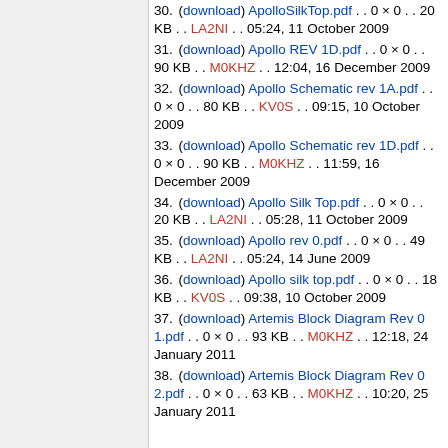30. (download) ApolloSilkTop.pdf . . 0 × 0 . . 20 KB . . LA2NI . . 05:24, 11 October 2009
31. (download) Apollo REV 1D.pdf . . 0 × 0 . . 90 KB . . M0KHZ . . 12:04, 16 December 2009
32. (download) Apollo Schematic rev 1A.pdf . . 0 × 0 . . 80 KB . . KV0S . . 09:15, 10 October 2009
33. (download) Apollo Schematic rev 1D.pdf . . 0 × 0 . . 90 KB . . M0KHZ . . 11:59, 16 December 2009
34. (download) Apollo Silk Top.pdf . . 0 × 0 . . 20 KB . . LA2NI . . 05:28, 11 October 2009
35. (download) Apollo rev 0.pdf . . 0 × 0 . . 49 KB . . LA2NI . . 05:24, 14 June 2009
36. (download) Apollo silk top.pdf . . 0 × 0 . . 18 KB . . KV0S . . 09:38, 10 October 2009
37. (download) Artemis Block Diagram Rev 0 1.pdf . . 0 × 0 . . 93 KB . . M0KHZ . . 12:18, 24 January 2011
38. (download) Artemis Block Diagram Rev 0 2.pdf . . 0 × 0 . . 63 KB . . M0KHZ . . 10:20, 25 January 2011